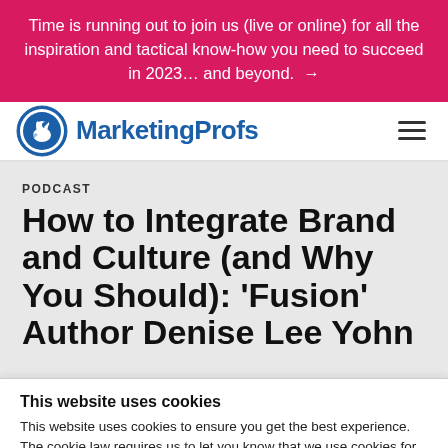Time is running out to join us (live or online) for all the inspiration and tactical know-how you need to succeed in 2023… and beyond. →
[Figure (logo): MarketingProfs logo with blue circular bird icon and blue text 'MarketingProfs']
PODCAST
How to Integrate Brand and Culture (and Why You Should): 'Fusion' Author Denise Lee Yohn
This website uses cookies
This website uses cookies to ensure you get the best experience. The cookie law requires us to let you know that we use cookies for personalization, website traffic analysis, 3rd party tracking, and website functionality. And yeah, we're disappointed that the cookie law doesn't deliver actual cookies